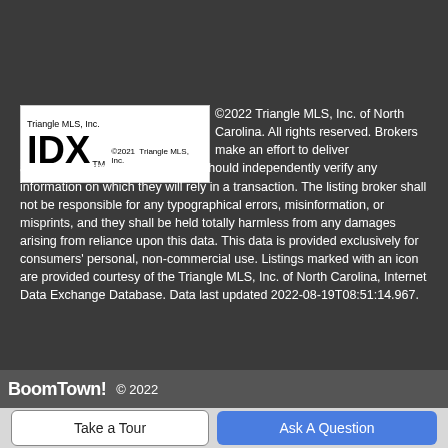[Figure (logo): Triangle MLS, Inc. IDX logo with TM mark and copyright 2021 Triangle MLS, Inc.]
©2022 Triangle MLS, Inc. of North Carolina. All rights reserved. Brokers make an effort to deliver accurate information, but buyers should independently verify any information on which they will rely in a transaction. The listing broker shall not be responsible for any typographical errors, misinformation, or misprints, and they shall be held totally harmless from any damages arising from reliance upon this data. This data is provided exclusively for consumers' personal, non-commercial use. Listings marked with an icon are provided courtesy of the Triangle MLS, Inc. of North Carolina, Internet Data Exchange Database. Data last updated 2022-08-19T08:51:14.967.
BoomTown! © 2022
Take a Tour
Ask A Question